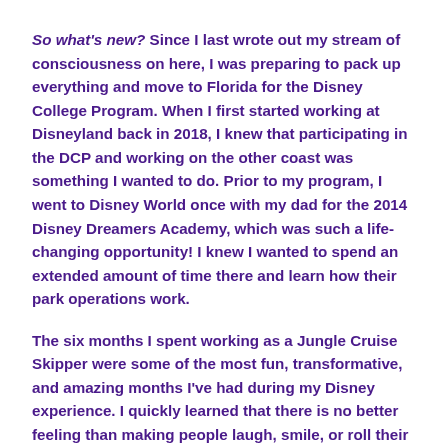So what's new? Since I last wrote out my stream of consciousness on here, I was preparing to pack up everything and move to Florida for the Disney College Program. When I first started working at Disneyland back in 2018, I knew that participating in the DCP and working on the other coast was something I wanted to do. Prior to my program, I went to Disney World once with my dad for the 2014 Disney Dreamers Academy, which was such a life-changing opportunity! I knew I wanted to spend an extended amount of time there and learn how their park operations work.
The six months I spent working as a Jungle Cruise Skipper were some of the most fun, transformative, and amazing months I've had during my Disney experience. I quickly learned that there is no better feeling than making people laugh, smile, or roll their eyes in anticipation of...